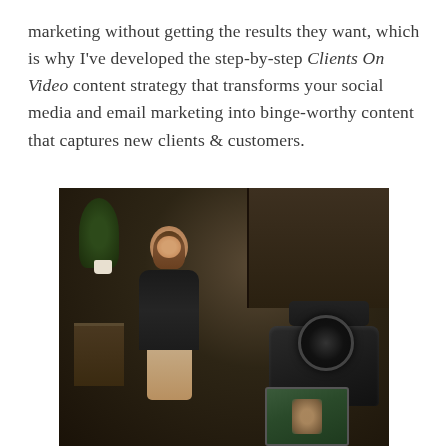marketing without getting the results they want, which is why I've developed the step-by-step Clients On Video content strategy that transforms your social media and email marketing into binge-worthy content that captures new clients & customers.
[Figure (photo): A woman in a black top sitting cross-legged in a chair smiling, being filmed by a professional camera in the foreground. A camera LCD screen shows the recording. Background shows a warmly lit room with shelving and plants.]